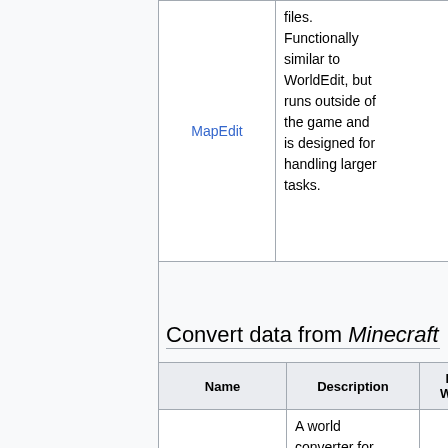| Name | Description |
| --- | --- |
| MapEdit | files. Functionally similar to WorldEdit, but runs outside of the game and is designed for handling larger tasks. |
Convert data from Minecraft
| Name | Description | Inf Web |
| --- | --- | --- |
|  | A world converter for whole Minecraft |  |